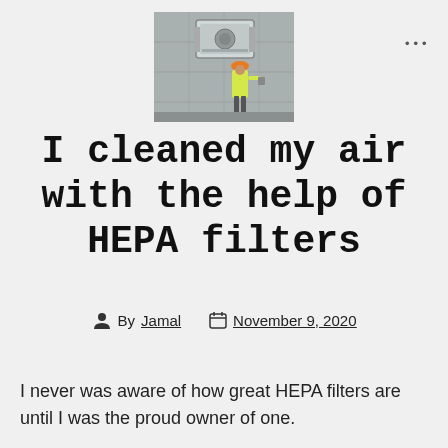[Figure (photo): Photo of a worker in yellow safety vest and orange hard hat near an outdoor HVAC/air conditioning unit mounted on a concrete wall]
I cleaned my air with the help of HEPA filters
By Jamal   November 9, 2020
I never was aware of how great HEPA filters are until I was the proud owner of one.